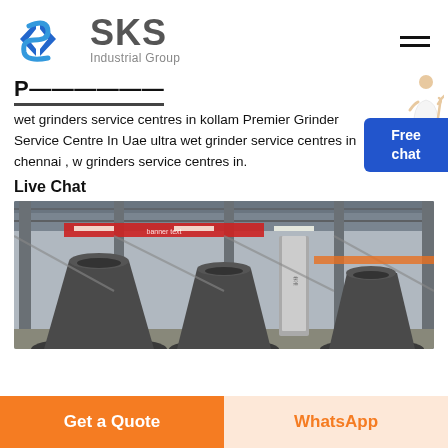[Figure (logo): SKS Industrial Group logo with blue angular S icon and dark grey SKS text with 'Industrial Group' subtitle]
P... (partially visible/cut off title)
wet grinders service centres in kollam Premier Grinder Service Centre In Uae ultra wet grinder service centres in chennai , w grinders service centres in.
Live Chat
[Figure (photo): Factory interior showing large industrial cone crusher machines in a steel-framed warehouse with red banner hanging from ceiling]
Get a Quote
WhatsApp